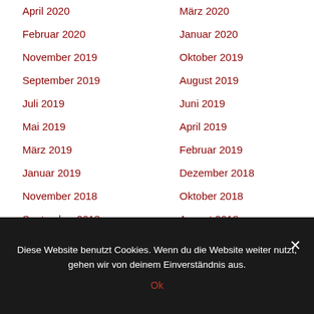April 2020
März 2020
Februar 2020
Januar 2020
November 2019
Oktober 2019
September 2019
August 2019
Juli 2019
Juni 2019
Mai 2019
April 2019
März 2019
Februar 2019
Januar 2019
Dezember 2018
November 2018
Oktober 2018
September 2018
August 2018
Juli 2018
Juni 2018
Mai 2018
April 2018
März 2018 (partially visible)
Februar 2018 (partially visible)
Diese Website benutzt Cookies. Wenn du die Website weiter nutzt, gehen wir von deinem Einverständnis aus.
Ok